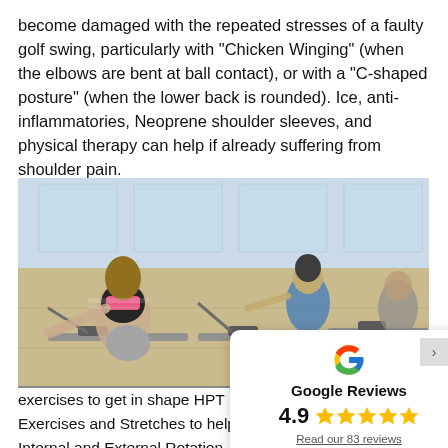become damaged with the repeated stresses of a faulty golf swing, particularly with “Chicken Winging” (when the elbows are bent at ball contact), or with a “C-shaped posture” (when the lower back is rounded). Ice, anti-inflammatories, Neoprene shoulder sleeves, and physical therapy can help if already suffering from shoulder pain.
[Figure (photo): People exercising on rowing machines in a gym. Two women and a man are visible, performing rowing exercises on stationary rowing machines in a bright gym environment.]
exercises to get in shape HPT Exercises and Stretches to help prev Internal and External Rotation
[Figure (infographic): Google Reviews card showing a rating of 4.9 stars with five gold stars and a link to read 83 reviews.]